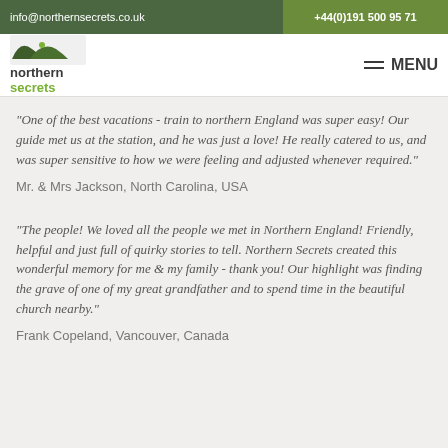info@northernsecrets.co.uk | +44(0)191 500 95 71
[Figure (logo): Northern Secrets logo with green hills SVG and text 'northern secrets']
“One of the best vacations - train to northern England was super easy! Our guide met us at the station, and he was just a love! He really catered to us, and was super sensitive to how we were feeling and adjusted whenever required.”
Mr. & Mrs Jackson, North Carolina, USA
“The people! We loved all the people we met in Northern England! Friendly, helpful and just full of quirky stories to tell. Northern Secrets created this wonderful memory for me & my family - thank you! Our highlight was finding the grave of one of my great grandfather and to spend time in the beautiful church nearby.”
Frank Copeland, Vancouver, Canada